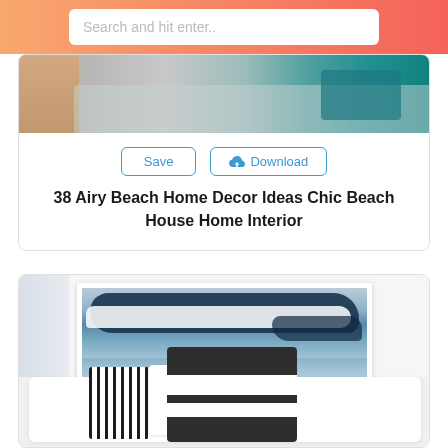Search and hit enter..
[Figure (photo): Interior living room photo showing a grey sofa with teal/turquoise decorative element]
Save   Download
38 Airy Beach Home Decor Ideas Chic Beach House Home Interior
[Figure (photo): Beach house interior showing framed ocean wave artwork on white wall above white sofa with striped and dark block pillows]